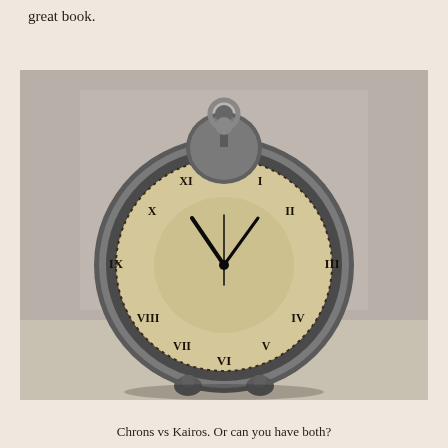great book.
[Figure (photo): A vintage silver alarm clock with a round face showing Roman numerals, sitting on a textured surface against a blurred grey wall background. The clock face is cream/beige colored with black Roman numerals and hands.]
Chrons vs Kairos. Or can you have both?